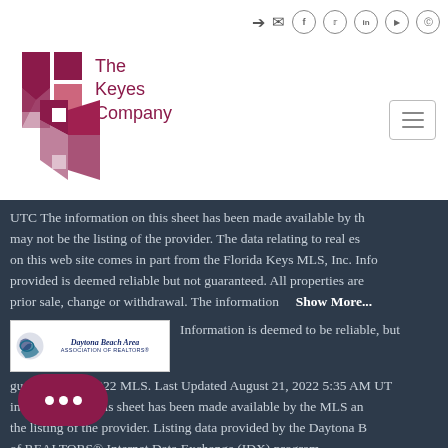[Figure (logo): The Keyes Company logo with K emblem in dark red/maroon]
UTC The information on this sheet has been made available by the MLS and may not be the listing of the provider. The data relating to real estate on this web site comes in part from the Florida Keys MLS, Inc. Information provided is deemed reliable but not guaranteed. All properties are subject to prior sale, change or withdrawal. The information   Show More...
[Figure (logo): Daytona Beach Area Association of REALTORS logo]
Information is deemed to be reliable, but not guaranteed. © 2022 MLS. Last Updated August 21, 2022 5:35 AM UTC The information on this sheet has been made available by the MLS and may not be the listing of the provider. Listing data provided by the Daytona Beach Area Association of REALTORS® Internet Data Exchange (IDX) program is believed to be accurate but not warranted.